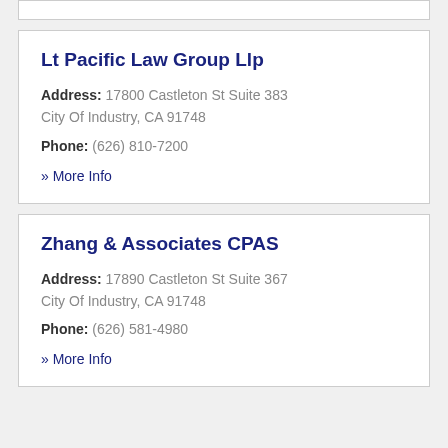Lt Pacific Law Group Llp
Address: 17800 Castleton St Suite 383
City Of Industry, CA 91748
Phone: (626) 810-7200
» More Info
Zhang & Associates CPAS
Address: 17890 Castleton St Suite 367
City Of Industry, CA 91748
Phone: (626) 581-4980
» More Info